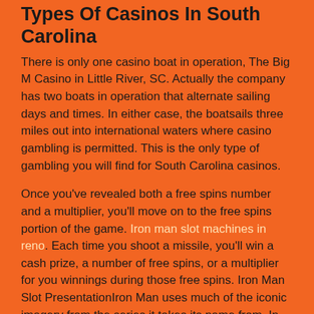Types Of Casinos In South Carolina
There is only one casino boat in operation, The Big M Casino in Little River, SC. Actually the company has two boats in operation that alternate sailing days and times. In either case, the boatsails three miles out into international waters where casino gambling is permitted. This is the only type of gambling you will find for South Carolina casinos.
Once you've revealed both a free spins number and a multiplier, you'll move on to the free spins portion of the game. Iron man slot machines in reno. Each time you shoot a missile, you'll win a cash prize, a number of free spins, or a multiplier for you winnings during those free spins. Iron Man Slot PresentationIron Man uses much of the iconic imagery from the series it takes its name from. In this game, you'll help Iron Man shoot down